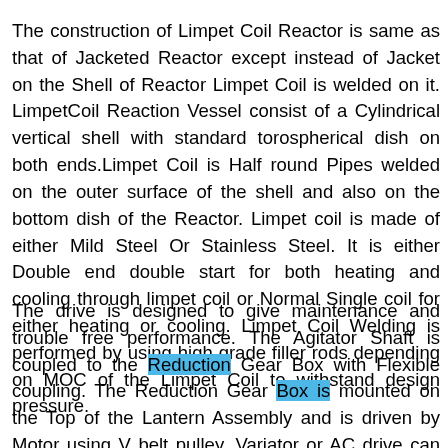The construction of Limpet Coil Reactor is same as that of Jacketed Reactor except instead of Jacket on the Shell of Reactor Limpet Coil is welded on it. LimpetCoil Reaction Vessel consist of a Cylindrical vertical shell with standard torospherical dish on both ends.Limpet Coil is Half round Pipes welded on the outer surface of the shell and also on the bottom dish of the Reactor. Limpet coil is made of either Mild Steel Or Stainless Steel. It is either Double end double start for both heating and cooling through limpet coil or Normal Single coil for either heating or cooling. Limpet Coil Welding is performed by using high grade filler rods depending on MOC of the Limpet Coil to withstand design pressure.
The drive is designed to give maintenance and trouble free performance. The Agitator Shaft is coupled to the Reduction Gear Box with Flexible coupling. The Reduction Gear Box is mounted on the Top of the Lantern Assembly and is driven by Motor using V belt pulley. Variator or AC drive can by used to